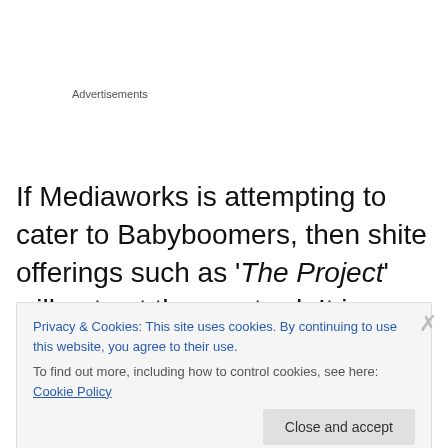Advertisements
If Mediaworks is attempting to cater to Babyboomers, then shite offerings such as 'The Project' will not cut the mustard. It is a pale, immature, sickly parody of professional journalism. What else can you call something that is fronted by people whose day jobs are comedians?
Privacy & Cookies: This site uses cookies. By continuing to use this website, you agree to their use.
To find out more, including how to control cookies, see here: Cookie Policy